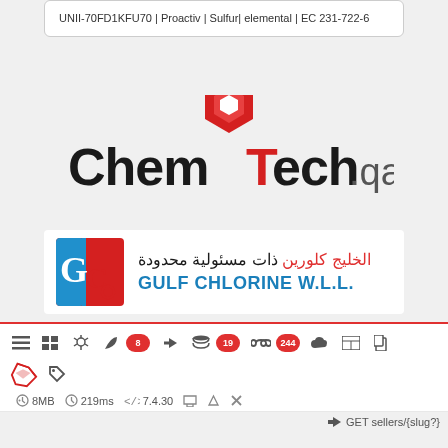UNII-70FD1KFU70 | Proactiv | Sulfur| elemental | EC 231-722-6
[Figure (logo): ChemTech.qa logo with red geometric diamond shape above stylized black and red text]
[Figure (logo): Gulf Chlorine W.L.L. logo with red and blue GC icon, Arabic text in red and black, English text in blue]
[Figure (screenshot): Web debug toolbar with icons and badges showing 8, 19, 244; status bar showing 8MB, 219ms, 7.4.30; route GET sellers/{slug?}]